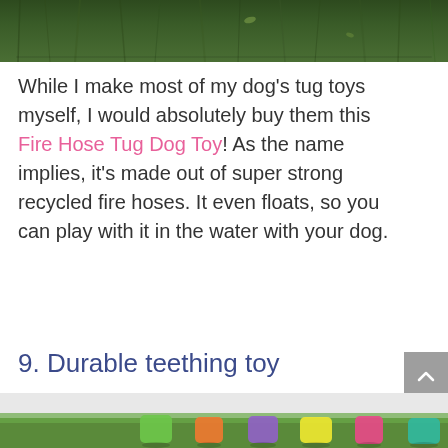[Figure (photo): Partial photo of grass/ground, cropped at top of page]
While I make most of my dog's tug toys myself, I would absolutely buy them this Fire Hose Tug Dog Toy! As the name implies, it's made out of super strong recycled fire hoses. It even floats, so you can play with it in the water with your dog.
9. Durable teething toy
[Figure (photo): Partial photo at bottom of page showing colorful dog toys on grass, cropped]